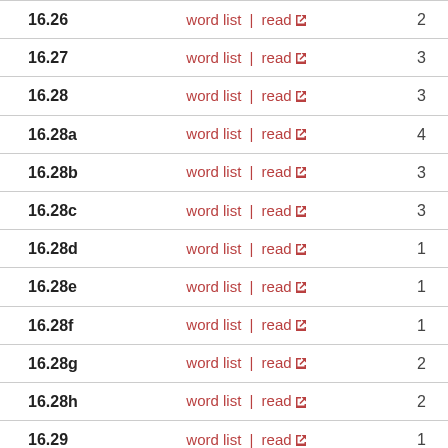| Section | Links | Count |
| --- | --- | --- |
| 16.26 | word list | read ↗ | 2 |
| 16.27 | word list | read ↗ | 3 |
| 16.28 | word list | read ↗ | 3 |
| 16.28a | word list | read ↗ | 4 |
| 16.28b | word list | read ↗ | 3 |
| 16.28c | word list | read ↗ | 3 |
| 16.28d | word list | read ↗ | 1 |
| 16.28e | word list | read ↗ | 1 |
| 16.28f | word list | read ↗ | 1 |
| 16.28g | word list | read ↗ | 2 |
| 16.28h | word list | read ↗ | 2 |
| 16.29 | word list | read ↗ | 1 |
| 16.30 | word list | read ↗ | 1 |